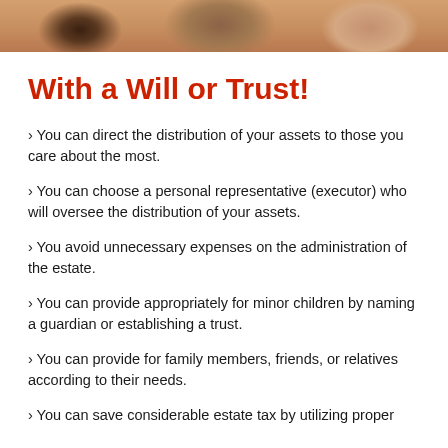[Figure (photo): Photo strip at top of page showing people in the background]
With a Will or Trust!
> You can direct the distribution of your assets to those you care about the most.
> You can choose a personal representative (executor) who will oversee the distribution of your assets.
> You avoid unnecessary expenses on the administration of the estate.
> You can provide appropriately for minor children by naming a guardian or establishing a trust.
> You can provide for family members, friends, or relatives according to their needs.
> You can save considerable estate tax by utilizing proper